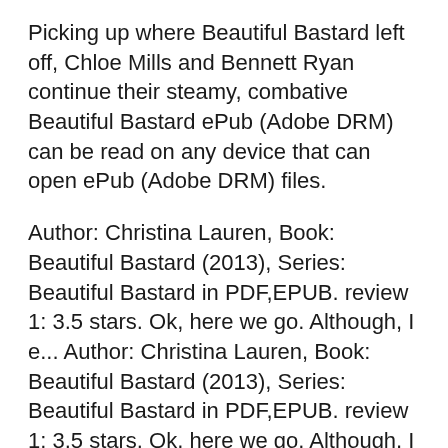Picking up where Beautiful Bastard left off, Chloe Mills and Bennett Ryan continue their steamy, combative Beautiful Bastard ePub (Adobe DRM) can be read on any device that can open ePub (Adobe DRM) files.
Author: Christina Lauren, Book: Beautiful Bastard (2013), Series: Beautiful Bastard in PDF,EPUB. review 1: 3.5 stars. Ok, here we go. Although, I e... Author: Christina Lauren, Book: Beautiful Bastard (2013), Series: Beautiful Bastard in PDF,EPUB. review 1: 3.5 stars. Ok, here we go. Although, I e...
Editions for Beautiful Bastard: